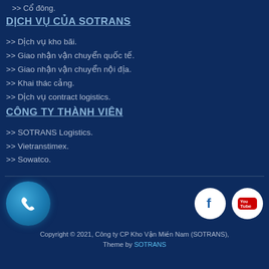>> Cổ đông.
DỊCH VỤ CỦA SOTRANS
>> Dịch vụ kho bãi.
>> Giao nhận vận chuyển quốc tế.
>> Giao nhận vận chuyển nội địa.
>> Khai thác cảng.
>> Dịch vụ contract logistics.
CÔNG TY THÀNH VIÊN
>> SOTRANS Logistics.
>> Vietranstimex.
>> Sowatco.
[Figure (infographic): Phone call circle icon (light blue), Facebook circle icon (white with F), YouTube circle icon (white with YouTube logo)]
Copyright © 2021, Công ty CP Kho Vận Miền Nam (SOTRANS), Theme by SOTRANS